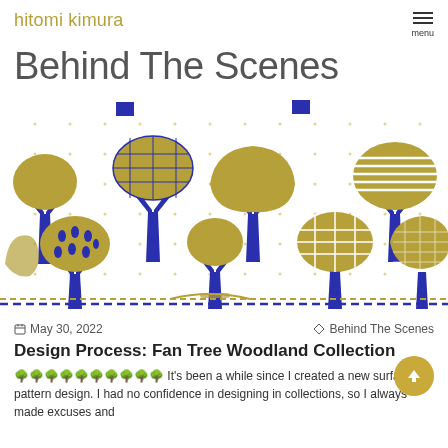hitomi kimura
Behind The Scenes
[Figure (illustration): Decorative illustration showing various stylized trees in blue and gold/olive colors on a white background with small dot pattern. Trees have different canopy textures including solid, grid-patterned, dotted, and hatched styles. A dashed line border runs along the bottom.]
May 30, 2022
Behind The Scenes
Design Process: Fan Tree Woodland Collection
🌳🌳🌳🌳🌳🌳🌳🌳🌳🌳 It's been a while since I created a new surface pattern design. I had no confidence in designing in collections, so I always made excuses and